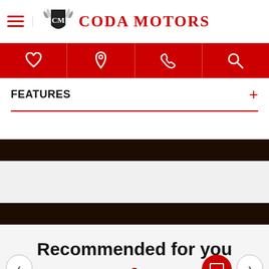[Figure (logo): Coda Motors logo with winged shield emblem and red brand name text]
[Figure (infographic): Red navigation bar with 4 white icons: heart/favorites, location pin, phone, search]
FEATURES
[Figure (infographic): Dark brown/black band - decorative separator]
[Figure (infographic): Dark brown/black band - decorative separator]
Recommended for you
[Figure (infographic): Carousel navigation with left/right arrows and a red chat button]